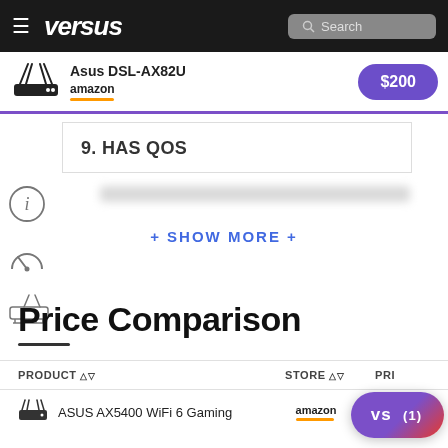versus — Search
Asus DSL-AX82U — amazon — $200
9. HAS QOS
+ SHOW MORE +
Price Comparison
| PRODUCT | STORE | PRICE |
| --- | --- | --- |
| ASUS AX5400 WiFi 6 Gaming | amazon | $200 |